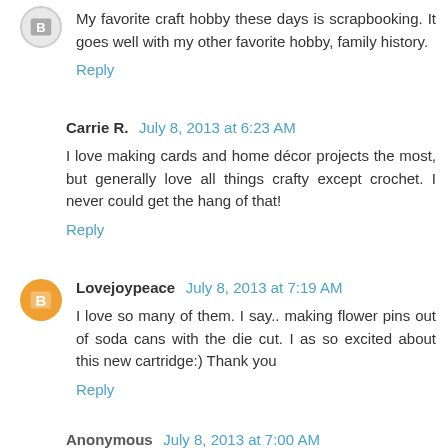My favorite craft hobby these days is scrapbooking. It goes well with my other favorite hobby, family history.
Reply
Carrie R.  July 8, 2013 at 6:23 AM
I love making cards and home décor projects the most, but generally love all things crafty except crochet. I never could get the hang of that!
Reply
Lovejoypeace  July 8, 2013 at 7:19 AM
I love so many of them. I say.. making flower pins out of soda cans with the die cut. I as so excited about this new cartridge:) Thank you
Reply
Anonymous  July 8, 2013 at 7:00 AM